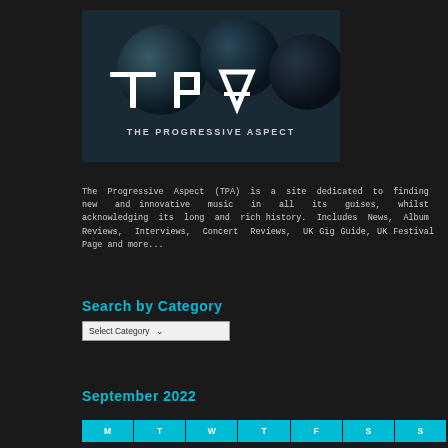[Figure (logo): TPA - The Progressive Aspect logo on dark background with three spheres and stylized text]
The Progressive Aspect (TPA) is a site dedicated to finding new and innovative music in all its guises, whilst acknowledging its long and rich history. Includes News, Album Reviews, Interviews, Concert Reviews, UK Gig Guide, UK Festival Page and more...
Search by Category
Select Category
September 2022
| M | T | W | T | F | S | S |
| --- | --- | --- | --- | --- | --- | --- |